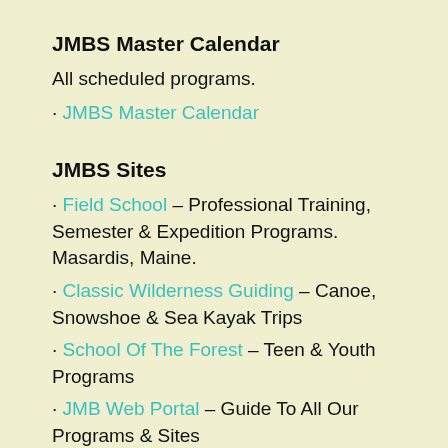JMBS Master Calendar
All scheduled programs.
· JMBS Master Calendar
JMBS Sites
· Field School – Professional Training, Semester & Expedition Programs. Masardis, Maine.
· Classic Wilderness Guiding – Canoe, Snowshoe & Sea Kayak Trips
· School Of The Forest – Teen & Youth Programs
· JMB Web Portal – Guide To All Our Programs & Sites
BushcraftSchool.com
Private Community Network & Online Courses. Free to